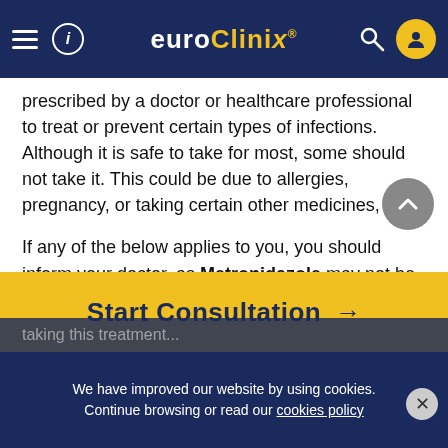euroClinix®
prescribed by a doctor or healthcare professional to treat or prevent certain types of infections. Although it is safe to take for most, some should not take it. This could be due to allergies, pregnancy, or taking certain other medicines, etc.
If any of the below applies to you, you should inform your doctor, as Metronidazole may not be the right treatment for you:
you are allergic to metronidazole, any of its ingredients, or have had an allergic reaction to medicines in the past
you are pregnant or breastfeeding
Start Consultation →
We have improved our website by using cookies. Continue browsing or read our cookies policy